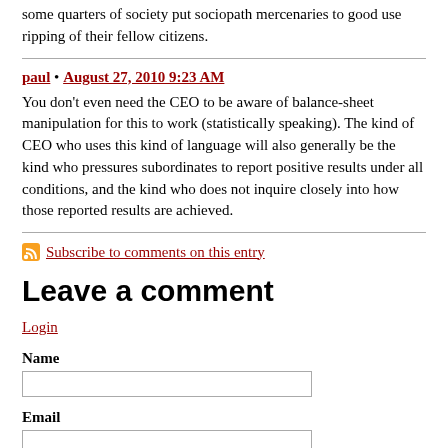some quarters of society put sociopath mercenaries to good use ripping of their fellow citizens.
paul • August 27, 2010 9:23 AM
You don't even need the CEO to be aware of balance-sheet manipulation for this to work (statistically speaking). The kind of CEO who uses this kind of language will also generally be the kind who pressures subordinates to report positive results under all conditions, and the kind who does not inquire closely into how those reported results are achieved.
Subscribe to comments on this entry
Leave a comment
Login
Name
Email